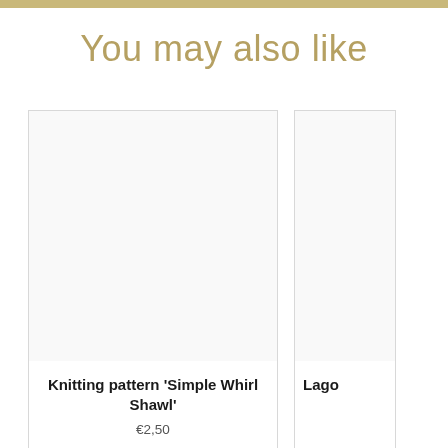You may also like
[Figure (other): Product card showing knitting pattern - blank white image area]
Knitting pattern 'Simple Whirl Shawl'
€2,50
[Figure (other): Partially visible product card - truncated at right edge, showing 'Lago...' title]